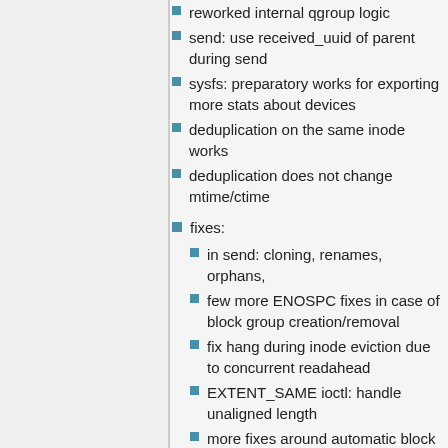reworked internal qgroup logic
send: use received_uuid of parent during send
sysfs: preparatory works for exporting more stats about devices
deduplication on the same inode works
deduplication does not change mtime/ctime
fixes:
in send: cloning, renames, orphans,
few more ENOSPC fixes in case of block group creation/removal
fix hang during inode eviction due to concurrent readahead
EXTENT_SAME ioctl: handle unaligned length
more fixes around automatic block group removal
deadlock with EXTENT_SAME and readahead
for feature NO_HOLES: fsync, truncate
v4.1 (Jun 2015)